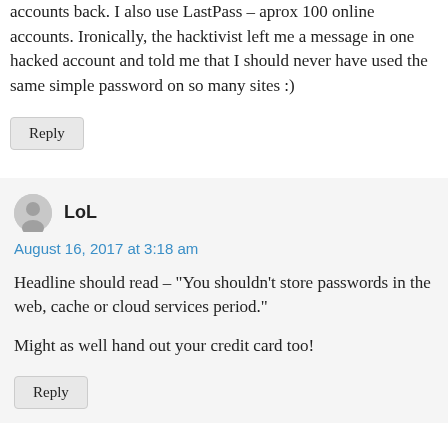accounts back. I also use LastPass – aprox 100 online accounts. Ironically, the hacktivist left me a message in one hacked account and told me that I should never have used the same simple password on so many sites :)
Reply
LoL
August 16, 2017 at 3:18 am
Headline should read – "You shouldn't store passwords in the web, cache or cloud services period."
Might as well hand out your credit card too!
Reply